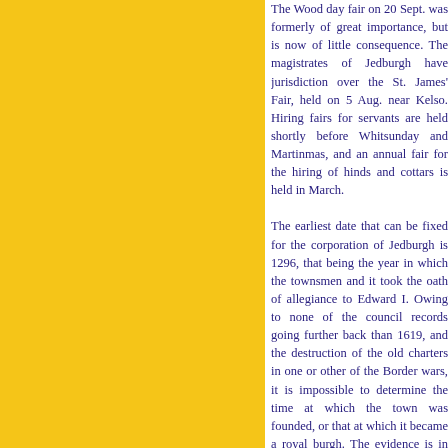The Wood day fair on 20 Sept. was formerly of great importance, but is now of little consequence. The magistrates of Jedburgh have jurisdiction over the St. James' Fair, held on 5 Aug. near Kelso. Hiring fairs for servants are held shortly before Whitsunday and Martinmas, and an annual fair for the hiring of hinds and cottars is held in March.
The earliest date that can be fixed for the corporation of Jedburgh is 1296, that being the year in which the townsmen and it took the oath of allegiance to Edward I. Owing to none of the council records going further back than 1619, and the destruction of the old charters in one or other of the Border wars, it is impossible to determine the time at which the town was founded, or that at which it became a royal burgh. The evidence is in favour of an early erection, perhaps as early as the reign of David I. In 1556 Queen Mary gave a charter to the town which confirmed those that had preceded it, gave great power to the magistrates, and ample privileges to the burgesses. In 1737 and 1767 the burgh was deprived of its magistrates, at the latter case owing to misconduct at a parliamentary election. The government of Jedburgh is conducted by a provost, 4 bailies, a dean of guild, a treasurer, and 9 councillors. The magistrates act as commissioners of police. At one time the corporation had property in land and houses, mills, which yielded a yearly rental of £500, but which was sold in 1845, to defray the debts incurred by the burgh in a lawsuit. As a result the income has dwindled away to nearly nothing.